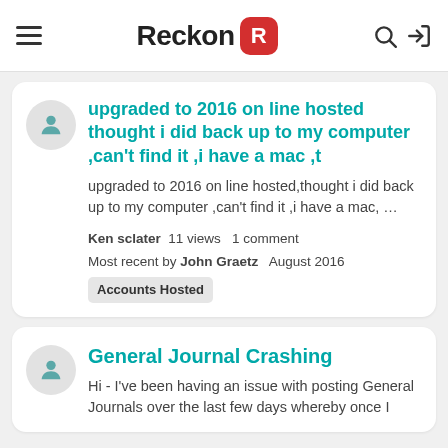Reckon
upgraded to 2016 on line hosted thought i did back up to my computer ,can't find it ,i have a mac ,t
upgraded to 2016 on line hosted,thought i did back up to my computer ,can't find it ,i have a mac, ...
Ken sclater   11 views   1 comment
Most recent by John Graetz   August 2016
Accounts Hosted
General Journal Crashing
Hi - I've been having an issue with posting General Journals over the last few days whereby once I